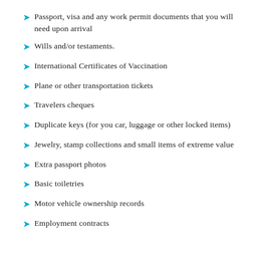Passport, visa and any work permit documents that you will need upon arrival
Wills and/or testaments.
International Certificates of Vaccination
Plane or other transportation tickets
Travelers cheques
Duplicate keys (for you car, luggage or other locked items)
Jewelry, stamp collections and small items of extreme value
Extra passport photos
Basic toiletries
Motor vehicle ownership records
Employment contracts